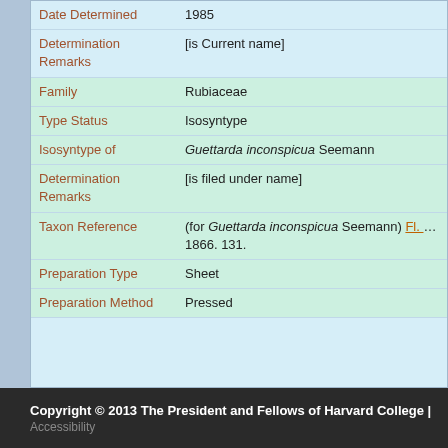| Field | Value |
| --- | --- |
| Date Determined | 1985 |
| Determination Remarks | [is Current name] |
| Family | Rubiaceae |
| Type Status | Isosyntype |
| Isosyntype of | Guettarda inconspicua Seemann |
| Determination Remarks | [is filed under name] |
| Taxon Reference | (for Guettarda inconspicua Seemann) Fl. Vit. [Seema... 1866. 131. |
| Preparation Type | Sheet |
| Preparation Method | Pressed |
Copyright © 2013 The President and Fellows of Harvard College | Accessibility